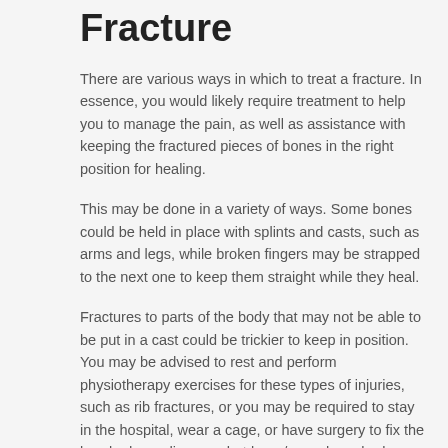Fracture
There are various ways in which to treat a fracture. In essence, you would likely require treatment to help you to manage the pain, as well as assistance with keeping the fractured pieces of bones in the right position for healing.
This may be done in a variety of ways. Some bones could be held in place with splints and casts, such as arms and legs, while broken fingers may be strapped to the next one to keep them straight while they heal.
Fractures to parts of the body that may not be able to be put in a cast could be trickier to keep in position. You may be advised to rest and perform physiotherapy exercises for these types of injuries, such as rib fractures, or you may be required to stay in the hospital, wear a cage, or have surgery to fix the break, depending on what bone/s you have broken and how badly you have broken them.
The types of surgery you may need for a broken bone would largely depend on the type and position of the break. If, for